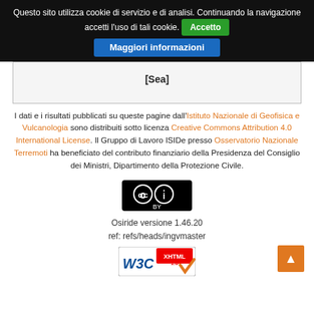Questo sito utilizza cookie di servizio e di analisi. Continuando la navigazione accetti l'uso di tali cookie. Accetto Maggiori informazioni
| [Sea] |
I dati e i risultati pubblicati su queste pagine dall'Istituto Nazionale di Geofisica e Vulcanologia sono distribuiti sotto licenza Creative Commons Attribution 4.0 International License. Il Gruppo di Lavoro ISIDe presso Osservatorio Nazionale Terremoti ha beneficiato del contributo finanziario della Presidenza del Consiglio dei Ministri, Dipartimento della Protezione Civile.
[Figure (logo): Creative Commons BY license badge]
Osiride versione 1.46.20
ref: refs/heads/ingvmaster
[Figure (logo): W3C XHTML 1.0 validation badge]